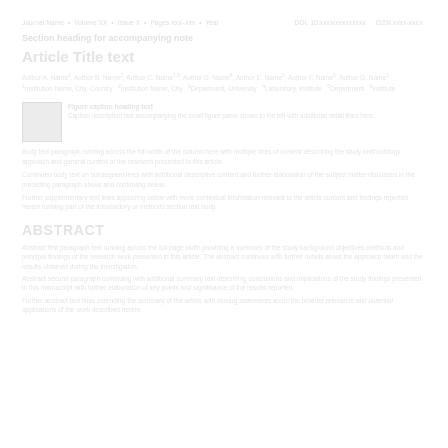Journal header and publication info line running across the top of the page
Section heading line with accompanying text
Article Title text
Author names, affiliations, and correspondence information spanning two lines
[Figure (photo): Small thumbnail image with caption text alongside]
Additional body text paragraph lines
More body text lines
ABSTRACT
Abstract body text first paragraph
Abstract body text second paragraph